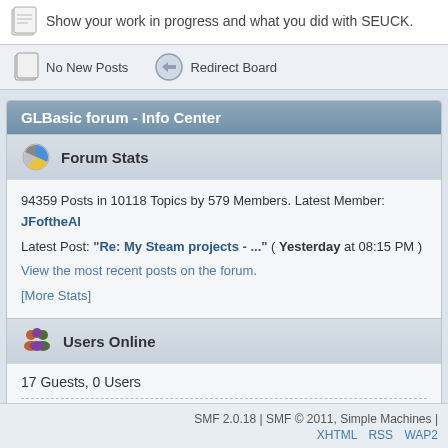Show your work in progress and what you did with SEUCK.
No New Posts   Redirect Board
GLBasic forum - Info Center
Forum Stats
94359 Posts in 10118 Topics by 579 Members. Latest Member: JFoftheA...
Latest Post: "Re: My Steam projects - ..." ( Yesterday at 08:15 PM )
View the most recent posts on the forum.
[More Stats]
Users Online
17 Guests, 0 Users
Most Online Today: 17. Most Online Ever: 967 (2020-Jan-22)
SMF 2.0.18 | SMF © 2011, Simple Machines | XHTML  RSS  WAP2